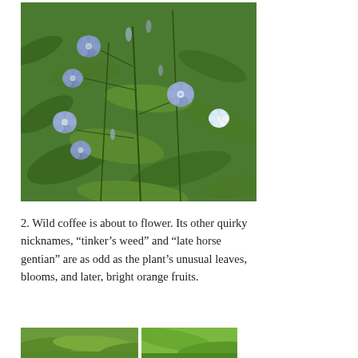[Figure (photo): Close-up photograph of wild coffee plant with light blue/purple bell-shaped flowers and green leaves, with buds visible on thin stems against lush green foliage background.]
2. Wild coffee is about to flower. Its other quirky nicknames, “tinker’s weed” and “late horse gentian” are as odd as the plant’s unusual leaves, blooms, and later, bright orange fruits.
[Figure (photo): Bottom left partial photo showing green grass or plant field.]
[Figure (photo): Bottom right partial photo showing close-up green plant or leaf texture.]